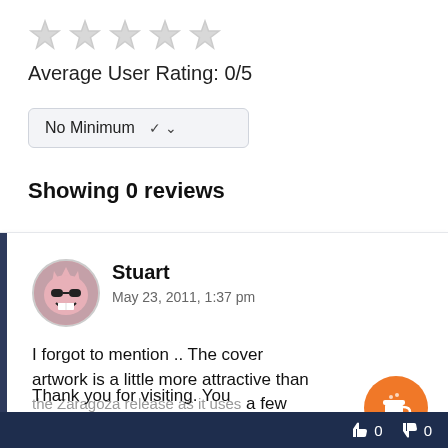[Figure (illustration): Five empty/unfilled star rating icons in a row]
Average User Rating: 0/5
[Figure (screenshot): Dropdown selector showing 'No Minimum' with a chevron arrow]
Showing 0 reviews
[Figure (illustration): Review card with blue left bar. Avatar icon of a cartoon character. Reviewer name: Stuart. Date: May 23, 2011, 1:37 pm. Review text: 'I forgot to mention .. The cover artwork is a little more attractive than the Zaragoza release as it uses a few' (partially hidden). Overlay popup: 'Thank you for visiting. You can now buy me a coffee!' with orange coffee cup button. Vote bar at bottom with thumbs up 0 and thumbs down 0.]